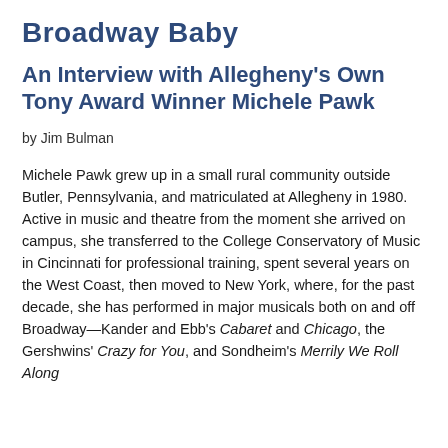Broadway Baby
An Interview with Allegheny's Own Tony Award Winner Michele Pawk
by Jim Bulman
Michele Pawk grew up in a small rural community outside Butler, Pennsylvania, and matriculated at Allegheny in 1980. Active in music and theatre from the moment she arrived on campus, she transferred to the College Conservatory of Music in Cincinnati for professional training, spent several years on the West Coast, then moved to New York, where, for the past decade, she has performed in major musicals both on and off Broadway—Kander and Ebb's Cabaret and Chicago, the Gershwins' Crazy for You, and Sondheim's Merrily We Roll Along